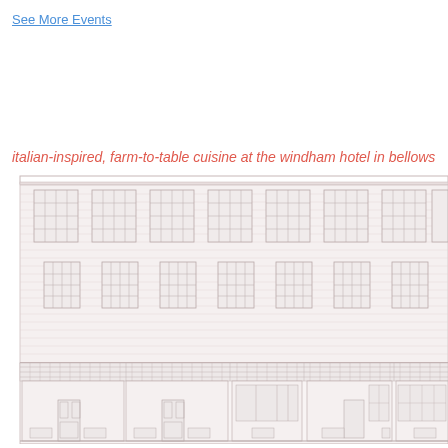See More Events
italian-inspired, farm-to-table cuisine at the windham hotel in bellows
[Figure (engineering-diagram): Architectural elevation drawing of a multi-story brick building facade showing two floors of windows in grid pattern and ground floor with storefronts, doors, and display windows. Line drawing in light gray/pink tones on white background.]